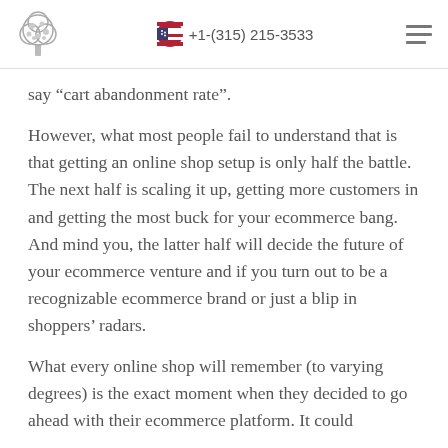+1-(315) 215-3533
say “cart abandonment rate”.
However, what most people fail to understand that is that getting an online shop setup is only half the battle. The next half is scaling it up, getting more customers in and getting the most buck for your ecommerce bang. And mind you, the latter half will decide the future of your ecommerce venture and if you turn out to be a recognizable ecommerce brand or just a blip in shoppers’ radars.
What every online shop will remember (to varying degrees) is the exact moment when they decided to go ahead with their ecommerce platform. It could